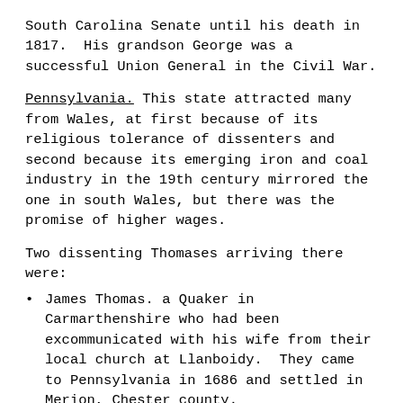South Carolina Senate until his death in 1817.  His grandson George was a successful Union General in the Civil War.
Pennsylvania. This state attracted many from Wales, at first because of its religious tolerance of dissenters and second because its emerging iron and coal industry in the 19th century mirrored the one in south Wales, but there was the promise of higher wages.
Two dissenting Thomases arriving there were:
James Thomas. a Quaker in Carmarthenshire who had been excommunicated with his wife from their local church at Llanboidy.  They came to Pennsylvania in 1686 and settled in Merion, Chester county.
and the Rev. Owen Thomas who became a
Denbighminster for the Welsh speaking...